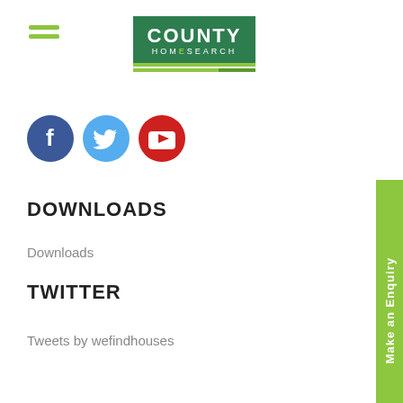[Figure (logo): County Homesearch logo - green rectangle with white text COUNTY and HOMESEARCH, with green underlines]
[Figure (infographic): Three social media icons: Facebook (blue circle with f), Twitter (light blue circle with bird), YouTube (red circle with play button)]
DOWNLOADS
Downloads
TWITTER
Tweets by wefindhouses
[Figure (other): Vertical green sidebar tab with text 'Make an Enquiry' rotated 90 degrees]